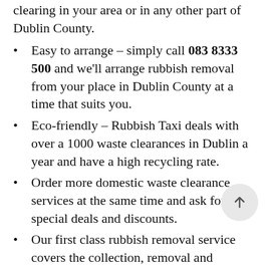clearing in your area or in any other part of Dublin County.
Easy to arrange – simply call 083 8333 500 and we'll arrange rubbish removal from your place in Dublin County at a time that suits you.
Eco-friendly – Rubbish Taxi deals with over a 1000 waste clearances in Dublin a year and have a high recycling rate.
Order more domestic waste clearance services at the same time and ask for your special deals and discounts.
Our first class rubbish removal service covers the collection, removal and disposal of all sorts of rubbish at very competitive prices in Ring Commons. Rubbish Taxi can offer you full assistance